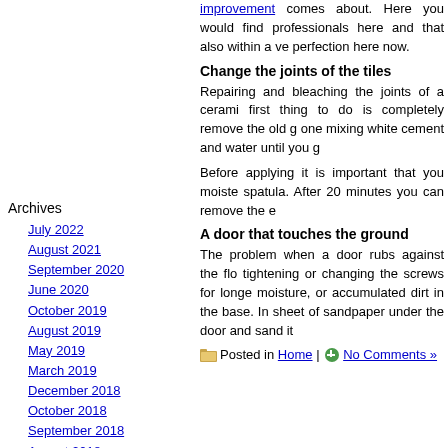improvement comes about. Here you would find professionals here and that also within a very short time to perfection here now.
Change the joints of the tiles
Repairing and bleaching the joints of a ceramic tile, the first thing to do is completely remove the old g... one mixing white cement and water until you g...
Before applying it is important that you moisten... spatula. After 20 minutes you can remove the e...
A door that touches the ground
The problem when a door rubs against the flo... tightening or changing the screws for longe... moisture, or accumulated dirt in the base. In... sheet of sandpaper under the door and sand it...
Posted in Home | No Comments »
Archives
July 2022
August 2021
September 2020
June 2020
October 2019
August 2019
May 2019
March 2019
December 2018
October 2018
September 2018
August 2018